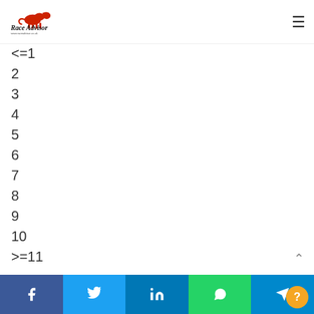Race Advisor - www.raceadvisor.co.uk
<=1
2
3
4
5
6
7
8
9
10
>=11
Facebook | Twitter | LinkedIn | WhatsApp | Telegram